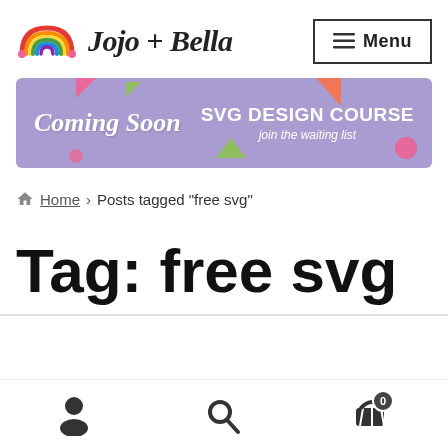Jojo + Bella — Menu
[Figure (illustration): Rainbow logo icon with colorful arcs (red, orange, yellow, green, blue, purple) on white background]
[Figure (infographic): Purple banner ad: 'Coming Soon SVG DESIGN COURSE join the waiting list' with colorful geometric shapes (triangles, circles) as decoration]
Home > Posts tagged "free svg"
Tag: free svg
[Figure (illustration): Bottom navigation bar with user/profile icon, search/magnifying glass icon, and shopping basket icon with badge showing 0]